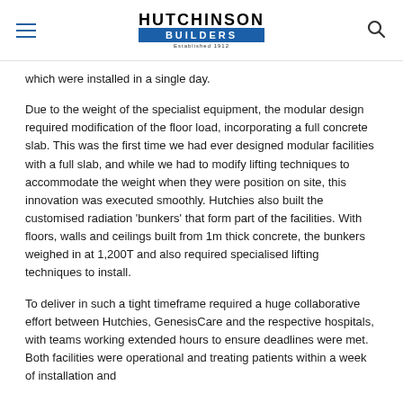HUTCHINSON BUILDERS — Established 1912
which were installed in a single day.
Due to the weight of the specialist equipment, the modular design required modification of the floor load, incorporating a full concrete slab. This was the first time we had ever designed modular facilities with a full slab, and while we had to modify lifting techniques to accommodate the weight when they were position on site, this innovation was executed smoothly. Hutchies also built the customised radiation 'bunkers' that form part of the facilities. With floors, walls and ceilings built from 1m thick concrete, the bunkers weighed in at 1,200T and also required specialised lifting techniques to install.
To deliver in such a tight timeframe required a huge collaborative effort between Hutchies, GenesisCare and the respective hospitals, with teams working extended hours to ensure deadlines were met. Both facilities were operational and treating patients within a week of installation and